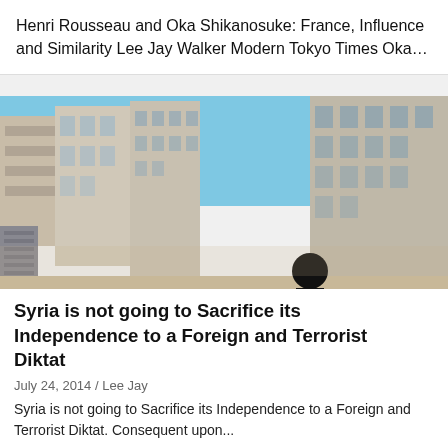Henri Rousseau and Oka Shikanosuke: France, Influence and Similarity Lee Jay Walker Modern Tokyo Times Oka…
[Figure (photo): War-damaged urban street scene in Syria, silhouette of armed figure in foreground, destroyed buildings in background, tags overlaid: GEOPOLITICS, MIDDLE EAST, MIITARY CONFLICT, RELIGIOUS PERSECUTION, SYRIA, TERRORISM]
Syria is not going to Sacrifice its Independence to a Foreign and Terrorist Diktat
July 24, 2014 / Lee Jay
Syria is not going to Sacrifice its Independence to a Foreign and Terrorist Diktat. Consequent upon...